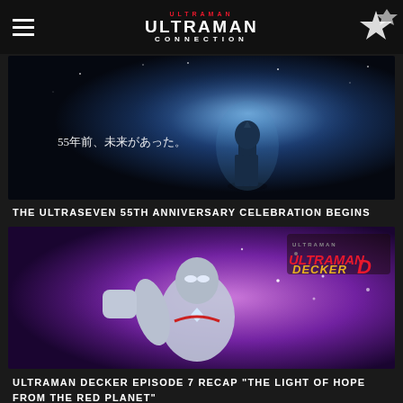ULTRAMAN CONNECTION
[Figure (photo): Dark cinematic image of Ultraman silhouetted against a blue cosmic/stellar background with Japanese text '55年前、未来があった。']
THE ULTRASEVEN 55TH ANNIVERSARY CELEBRATION BEGINS
[Figure (photo): Ultraman Decker promotional image with purple/pink sparkling background, showing Ultraman Decker in action pose with logo in top right]
ULTRAMAN DECKER EPISODE 7 RECAP "THE LIGHT OF HOPE FROM THE RED PLANET"